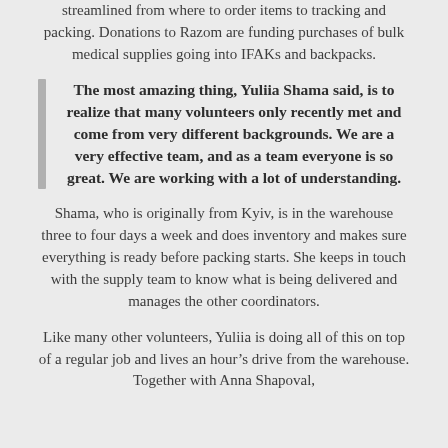streamlined from where to order items to tracking and packing. Donations to Razom are funding purchases of bulk medical supplies going into IFAKs and backpacks.
The most amazing thing, Yuliia Shama said, is to realize that many volunteers only recently met and come from very different backgrounds. We are a very effective team, and as a team everyone is so great. We are working with a lot of understanding.
Shama, who is originally from Kyiv, is in the warehouse three to four days a week and does inventory and makes sure everything is ready before packing starts. She keeps in touch with the supply team to know what is being delivered and manages the other coordinators.
Like many other volunteers, Yuliia is doing all of this on top of a regular job and lives an hour’s drive from the warehouse. Together with Anna Shapoval,